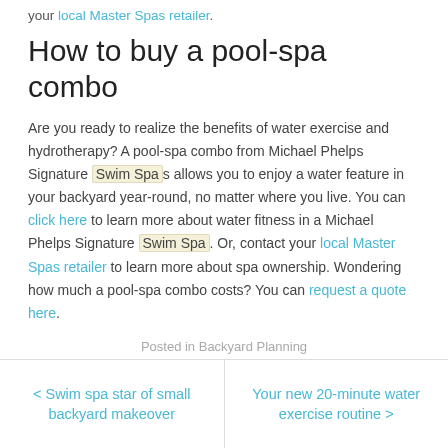your local Master Spas retailer.
How to buy a pool-spa combo
Are you ready to realize the benefits of water exercise and hydrotherapy? A pool-spa combo from Michael Phelps Signature Swim Spas allows you to enjoy a water feature in your backyard year-round, no matter where you live. You can click here to learn more about water fitness in a Michael Phelps Signature Swim Spa. Or, contact your local Master Spas retailer to learn more about spa ownership. Wondering how much a pool-spa combo costs? You can request a quote here.
Posted in Backyard Planning
< Swim spa star of small backyard makeover
Your new 20-minute water exercise routine >